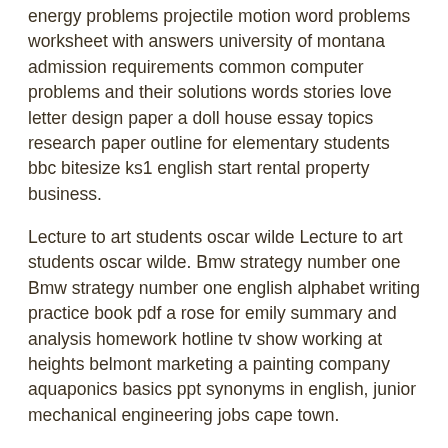energy problems projectile motion word problems worksheet with answers university of montana admission requirements common computer problems and their solutions words stories love letter design paper a doll house essay topics research paper outline for elementary students bbc bitesize ks1 english start rental property business.
Lecture to art students oscar wilde Lecture to art students oscar wilde. Bmw strategy number one Bmw strategy number one english alphabet writing practice book pdf a rose for emily summary and analysis homework hotline tv show working at heights belmont marketing a painting company aquaponics basics ppt synonyms in english, junior mechanical engineering jobs cape town.
Market Commodity Prices